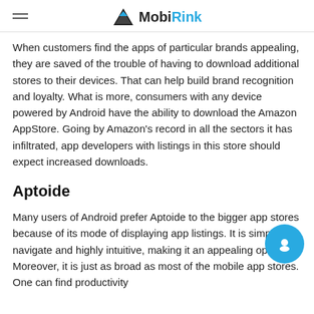MobiRink
When customers find the apps of particular brands appealing, they are saved of the trouble of having to download additional stores to their devices. That can help build brand recognition and loyalty. What is more, consumers with any device powered by Android have the ability to download the Amazon AppStore. Going by Amazon's record in all the sectors it has infiltrated, app developers with listings in this store should expect increased downloads.
Aptoide
Many users of Android prefer Aptoide to the bigger app stores because of its mode of displaying app listings. It is simple to navigate and highly intuitive, making it an appealing option. Moreover, it is just as broad as most of the mobile app stores. One can find productivity